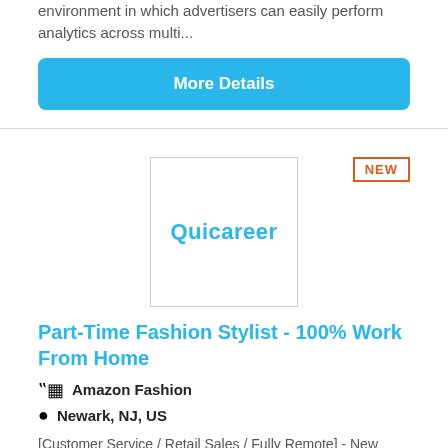environment in which advertisers can easily perform analytics across multi...
More Details
[Figure (logo): Quicareer company logo in blue text inside a bordered box]
Part-Time Fashion Stylist - 100% Work From Home
Amazon Fashion
Newark, NJ, US
[Customer Service / Retail Sales / Fully Remote] - New Jersey Residents Welcome / Competitive Pay Benefits - As a Fashion Stylist you'll: Review